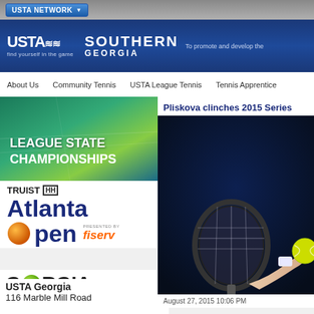USTA NETWORK
[Figure (logo): USTA Southern Georgia header banner with logos and tagline 'To promote and develop the']
About Us | Community Tennis | USTA League Tennis | Tennis Apprentice
[Figure (photo): League State Championships banner with tennis court background]
[Figure (logo): Truist Atlanta Open presented by Fiserv logo]
[Figure (logo): Georgia Professional Tennis Association logo]
[Figure (illustration): Social media icons: Facebook, Twitter, YouTube]
USTA Georgia
116 Marble Mill Road
Pliskova clinches 2015 Series women'
[Figure (photo): Tennis player serving with racket and yellow ball, dark background]
August 27, 2015 10:06 PM